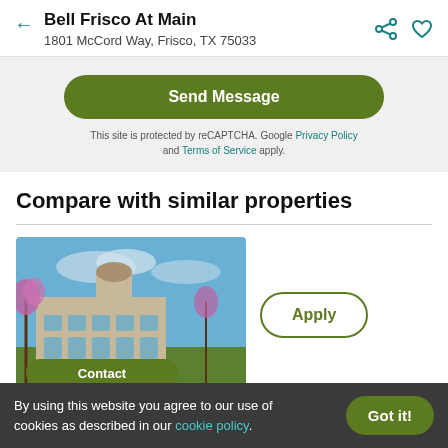Bell Frisco At Main
1801 McCord Way, Frisco, TX 75033
Send Message
This site is protected by reCAPTCHA. Google Privacy Policy and Terms of Service apply.
Compare with similar properties
[Figure (photo): Exterior photo of an apartment complex building with stone facade, a round tower element, blue sky and pink flowering trees in foreground. Contact and Apply buttons overlay.]
By using this website you agree to our use of cookies as described in our cookie policy.